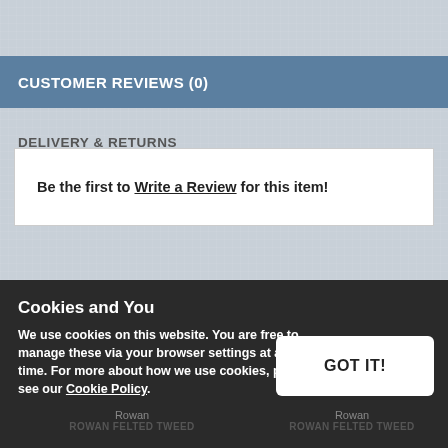CUSTOMER REVIEWS (0)
DELIVERY & RETURNS
Be the first to Write a Review for this item!
Cookies and You
We use cookies on this website. You are free to manage these via your browser settings at any time. For more about how we use cookies, please see our Cookie Policy.
GOT IT!
Rowan
ROWAN FELTED TWEED
Rowan
ROWAN FELTED TWEED